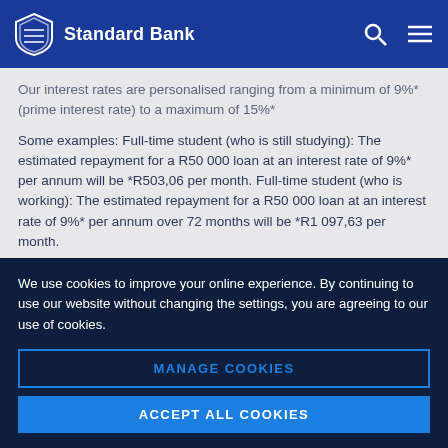Standard Bank
Our interest rates are personalised ranging from a minimum of 9%* (prime interest rate) to a maximum of 15%*
Some examples: Full-time student (who is still studying): The estimated repayment for a R50 000 loan at an interest rate of 9%* per annum will be *R503,06 per month. Full-time student (who is working): The estimated repayment for a R50 000 loan at an interest rate of 9%* per annum over 72 months will be *R1 097,63 per month.
We use cookies to improve your online experience. By continuing to use our website without changing the settings, you are agreeing to our use of cookies.
MANAGE COOKIES
ACCEPT ALL COOKIES